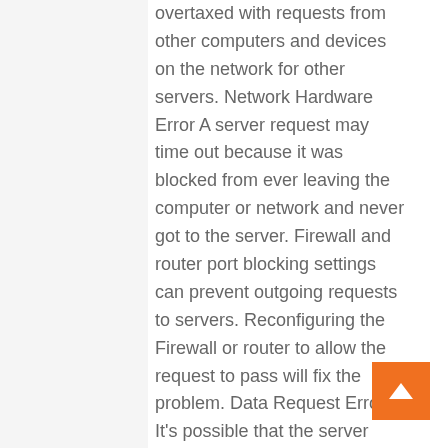overtaxed with requests from other computers and devices on the network for other servers. Network Hardware Error A server request may time out because it was blocked from ever leaving the computer or network and never got to the server. Firewall and router port blocking settings can prevent outgoing requests to servers. Reconfiguring the Firewall or router to allow the request to pass will fix the problem. Data Request Error It's possible that the server suffers an error pulling up the requested data and is unable to send anything back to the computer. When this occurs, the request makes it to the server, but the server gives up and never sends anything back. Data request errors can be resolved by sending the request again. References Writer Bio Dan Stone started writing professionally in 2006, specializing in education, technology and music. He is a web developer for a